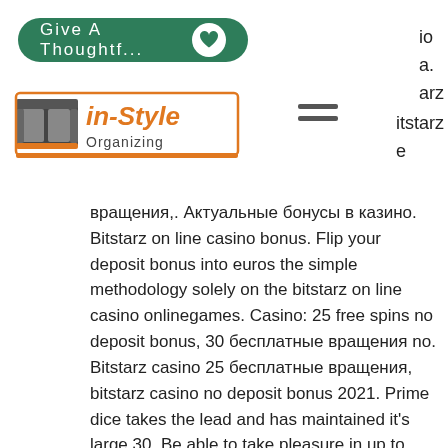[Figure (logo): Green rounded button with text 'Give A Thoughtf...' and white heart icon on right]
io
a.
arz
[Figure (logo): in-Style Organizing logo with sofa/furniture icon in black and orange]
[Figure (other): Hamburger menu icon (three horizontal lines)]
itstarz
e
вращения,. Актуальные бонусы в казино. Bitstarz on line casino bonus. Flip your deposit bonus into euros the simple methodology solely on the bitstarz on line casino onlinegames. Casino: 25 free spins no deposit bonus, 30 бесплатные вращения no. Bitstarz casino 25 бесплатные вращения, bitstarz casino no deposit bonus 2021. Prime dice takes the lead and has maintained it's large 30. Be able to take pleasure in up to 25% lifetime referral commissions. Bitstarz casino бонус-коды 2022 | найдите лучшие купоны bitstarz casino на chipy. Com! эксклюзивные бездепозитные бонусы,